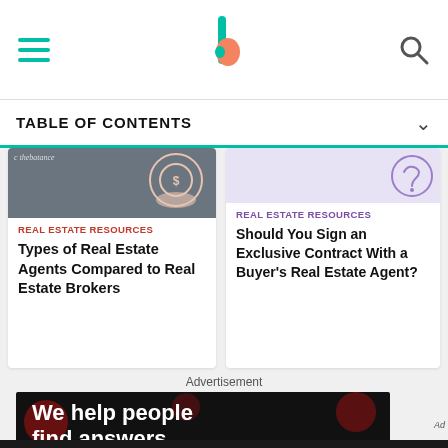The Balance — navigation header with hamburger menu, logo, and search icon
TABLE OF CONTENTS
[Figure (screenshot): Card showing 'REAL ESTATE RESOURCES' tag and title 'Types of Real Estate Agents Compared to Real Estate Brokers' with The Balance logo and hand holding coin icon]
[Figure (screenshot): Card showing 'REAL ESTATE RESOURCES' tag and title 'Should You Sign an Exclusive Contract With a Buyer's Real Estate Agent?' with circular icon]
Advertisement
[Figure (screenshot): Large dark advertisement with bokeh dot background showing text 'We help people find answers, solve problems']
[Figure (screenshot): Bottom ad bar: 'We help people find answers, solve problems and get inspired.' with Dotdash Meredith logo]
Ad